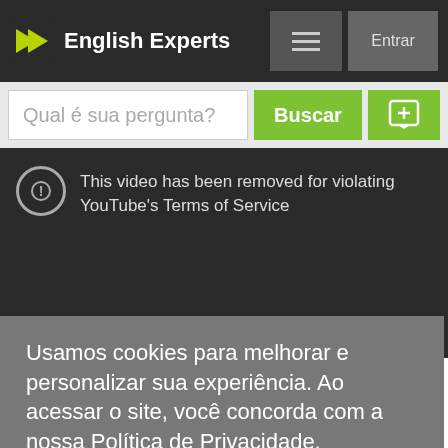English Experts
Qual é sua pergunta?
[Figure (screenshot): YouTube video removed notice: 'This video has been removed for violating YouTube's Terms of Service']
Valor?
Usamos cookies para melhorar e personalizar sua experiência. Ao acessar o site, você concorda com a nossa Política de Privacidade.
Eu entendi!